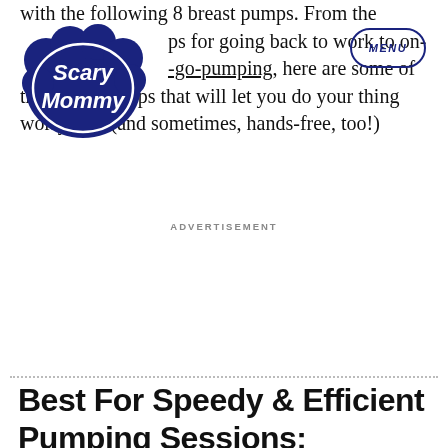Scary Mommy | MENU
with the following 8 breast pumps. From the pumps for going back to work to on-the-go-pumping, here are some of the breast pumps that will let you do your thing worry-free (and sometimes, hands-free, too!)
ADVERTISEMENT
Best For Speedy & Efficient Pumping Sessions: